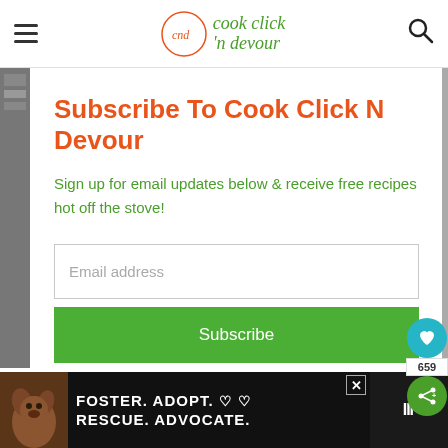cook click 'n devour
Subscribe To Cook Click N Devour
Sign up for email updates below & receive free recipes hot off the stove!
Email address
Subscribe
659
[Figure (infographic): Foster. Adopt. Rescue. Advocate. advertisement banner with dog photo]
FOSTER. ADOPT. ♡ ♡
RESCUE. ADVOCATE.